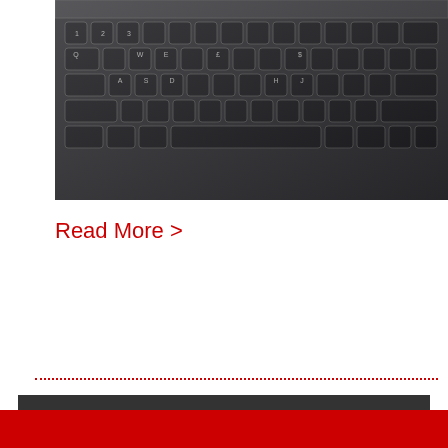[Figure (photo): Close-up photograph of a dark laptop keyboard with keys visible including numbers, letters, and symbols.]
Read More >
This website uses cookies to ensure you get the best user experience. By continuing to use this website, you agree to our use of cookies in accordance with our Privacy & Cookies Policy.  Learn more
Got it!